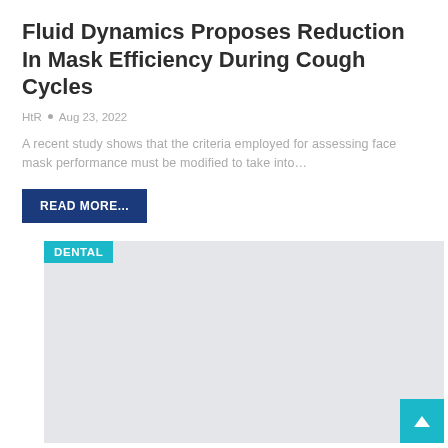Fluid Dynamics Proposes Reduction In Mask Efficiency During Cough Cycles
HtR  •  Aug 23, 2022
A recent study shows that the criteria employed for assessing face mask performance must be modified to take into…
READ MORE...
[Figure (other): Gray placeholder image box with a teal 'DENTAL' category tag in the top-left corner and a teal back-to-top arrow button in the bottom-right corner.]